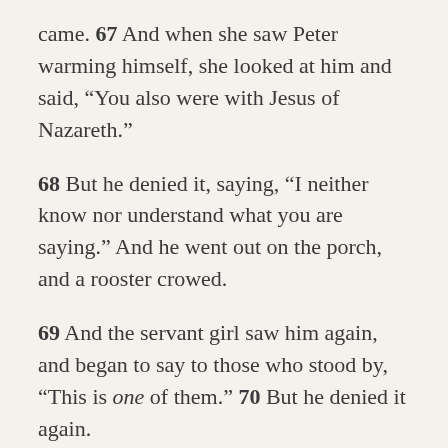came. 67 And when she saw Peter warming himself, she looked at him and said, “You also were with Jesus of Nazareth.”
68 But he denied it, saying, “I neither know nor understand what you are saying.” And he went out on the porch, and a rooster crowed.
69 And the servant girl saw him again, and began to say to those who stood by, “This is one of them.” 70 But he denied it again.
And a little later those who stood by said to Peter again, “Surely you are one of them; for you are a Galilean, and your speech shows it.”
71 Then he began to curse and swear, “I do not